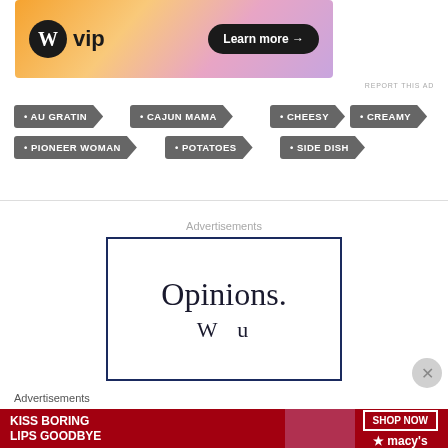[Figure (other): WordPress VIP ad banner with orange/pink gradient background, WordPress logo on left, 'Learn more →' button on right]
REPORT THIS AD
• AU GRATIN
• CAJUN MAMA
• CHEESY
• CREAMY
• PIONEER WOMAN
• POTATOES
• SIDE DISH
Advertisements
[Figure (other): Ad box with dark blue border showing text 'Opinions.' and partial word below]
Advertisements
[Figure (other): Macy's red ad banner: 'KISS BORING LIPS GOODBYE' with woman's face and 'SHOP NOW ★ macy's' button]
REPORT THIS AD